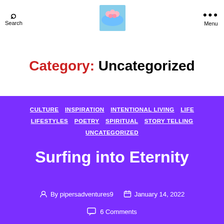Search | [logo image] | Menu
Category: Uncategorized
CULTURE
INSPIRATION
INTENTIONAL LIVING
LIFE
LIFESTYLES
POETRY
SPIRITUAL
STORY TELLING
UNCATEGORIZED
Surfing into Eternity
By pipersadventures9
January 14, 2022
6 Comments